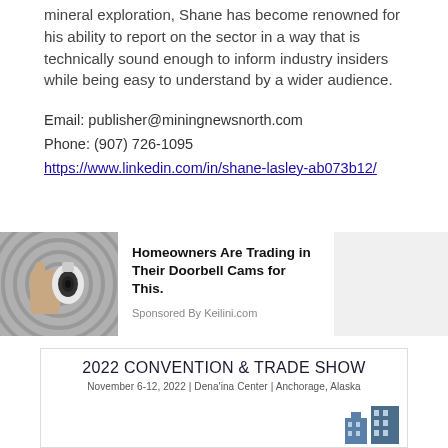mineral exploration, Shane has become renowned for his ability to report on the sector in a way that is technically sound enough to inform industry insiders while being easy to understand by a wider audience.
Email: publisher@miningnewsnorth.com
Phone: (907) 726-1095
https://www.linkedin.com/in/shane-lasley-ab073b12/
[Figure (photo): Hand holding a security camera/doorbell cam device against a circular patterned wall]
Homeowners Are Trading in Their Doorbell Cams for This.
Sponsored By Keilini.com
2022 CONVENTION & TRADE SHOW
November 6-12, 2022 | Dena'ina Center | Anchorage, Alaska